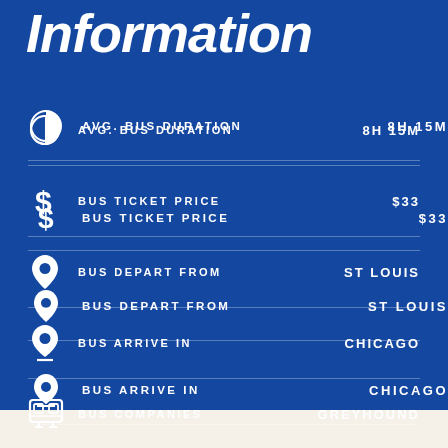Information
AVG. BUS DURATION  8H 15M
BUS TICKET PRICE  $33
BUS DEPART FROM  ST LOUIS
BUS ARRIVE IN  CHICAGO
BUS COMPANIES  GREYHOUND